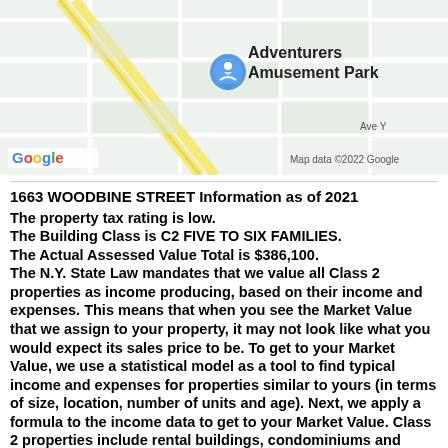[Figure (map): Google Maps screenshot showing Adventurers Amusement Park with a location pin, street map of the surrounding area, and 'Map data ©2022 Google' attribution at bottom right.]
1663 WOODBINE STREET Information as of 2021
The property tax rating is low. The Building Class is C2 FIVE TO SIX FAMILIES. The Actual Assessed Value Total is $386,100. The N.Y. State Law mandates that we value all Class 2 properties as income producing, based on their income and expenses. This means that when you see the Market Value that we assign to your property, it may not look like what you would expect its sales price to be. To get to your Market Value, we use a statistical model as a tool to find typical income and expenses for properties similar to yours (in terms of size, location, number of units and age). Next, we apply a formula to the income data to get to your Market Value. Class 2 properties include rental buildings, condominiums and cooperatives. All are